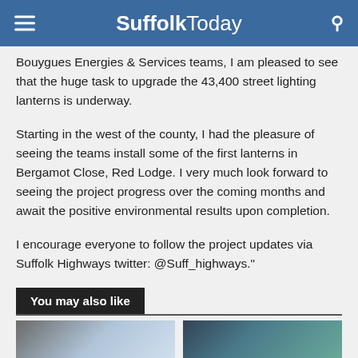Suffolk Today
Bouygues Energies & Services teams, I am pleased to see that the huge task to upgrade the 43,400 street lighting lanterns is underway.
Starting in the west of the county, I had the pleasure of seeing the teams install some of the first lanterns in Bergamot Close, Red Lodge. I very much look forward to seeing the project progress over the coming months and await the positive environmental results upon completion.
I encourage everyone to follow the project updates via Suffolk Highways twitter: @Suff_highways."
You may also like
[Figure (photo): Thumbnail image on the left]
[Figure (photo): Thumbnail image on the right]